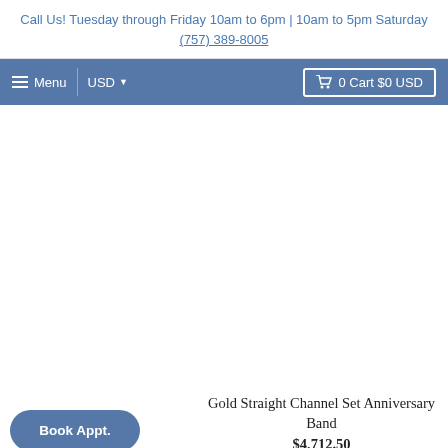Call Us! Tuesday through Friday 10am to 6pm | 10am to 5pm Saturday (757) 389-8005
Menu | USD | 0 Cart $0 USD
[Figure (photo): Product image area (blank/white) for Gold Straight Channel Set Anniversary Band]
Book Appt.
Gold Straight Channel Set Anniversary Band
$4,712.50